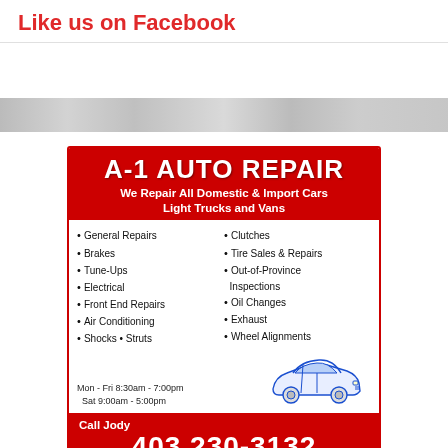Like us on Facebook
[Figure (illustration): White banner area below Facebook text with a light gray blurred photo strip beneath it]
[Figure (infographic): A-1 Auto Repair advertisement. Red border box with red header saying A-1 AUTO REPAIR, subtitle We Repair All Domestic & Import Cars Light Trucks and Vans. Two-column list of services: General Repairs, Brakes, Tune-Ups, Electrical, Front End Repairs, Air Conditioning, Shocks Struts, Clutches, Tire Sales & Repairs, Out-of-Province Inspections, Oil Changes, Exhaust, Wheel Alignments. Hours: Mon-Fri 8:30am-7:00pm, Sat 9:00am-5:00pm. Blue line drawing of a car. Red footer: Call Jody, phone 403 230-3132, address 1405 Edmonton Trail NE, Calgary AB T2E 3K8.]